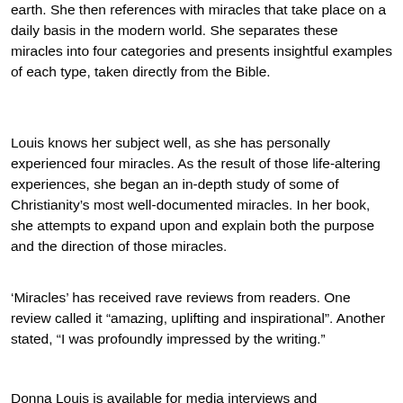earth. She then references with miracles that take place on a daily basis in the modern world. She separates these miracles into four categories and presents insightful examples of each type, taken directly from the Bible.
Louis knows her subject well, as she has personally experienced four miracles. As the result of those life-altering experiences, she began an in-depth study of some of Christianity’s most well-documented miracles. In her book, she attempts to expand upon and explain both the purpose and the direction of those miracles.
‘Miracles’ has received rave reviews from readers. One review called it “amazing, uplifting and inspirational”. Another stated, “I was profoundly impressed by the writing.”
Donna Louis is available for media interviews and